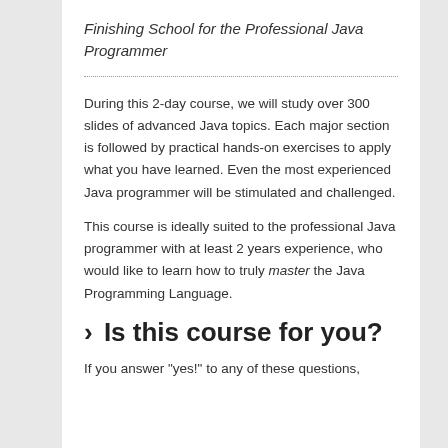Finishing School for the Professional Java Programmer
During this 2-day course, we will study over 300 slides of advanced Java topics. Each major section is followed by practical hands-on exercises to apply what you have learned. Even the most experienced Java programmer will be stimulated and challenged.
This course is ideally suited to the professional Java programmer with at least 2 years experience, who would like to learn how to truly master the Java Programming Language.
> Is this course for you?
If you answer "yes!" to any of these questions,